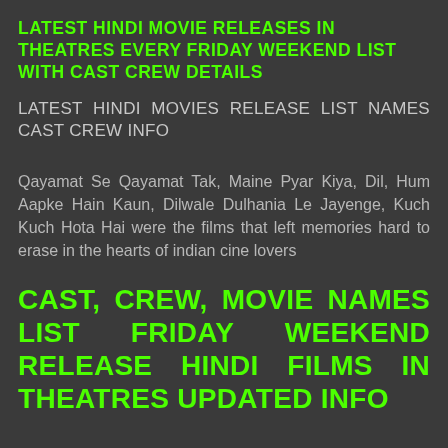LATEST HINDI MOVIE RELEASES IN THEATRES EVERY FRIDAY WEEKEND LIST WITH CAST CREW DETAILS
LATEST HINDI MOVIES RELEASE LIST NAMES CAST CREW INFO
Qayamat Se Qayamat Tak, Maine Pyar Kiya, Dil, Hum Aapke Hain Kaun, Dilwale Dulhania Le Jayenge, Kuch Kuch Hota Hai were the films that left memories hard to erase in the hearts of indian cine lovers
CAST, CREW, MOVIE NAMES LIST FRIDAY WEEKEND RELEASE HINDI FILMS IN THEATRES UPDATED INFO